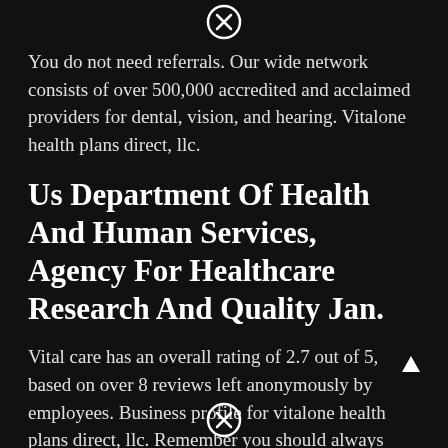[Figure (other): Close/cancel circular icon (X in circle) at top center]
You do not need referrals. Our wide network consists of over 500,000 accredited and acclaimed providers for dental, vision, and hearing. Vitalone health plans direct, llc.
Us Department Of Health And Human Services, Agency For Healthcare Research And Quality Jan.
Vital care has an overall rating of 2.7 out of 5, based on over 8 reviews left anonymously by employees. Business profile for vitalone health plans direct, llc. Remember you should always check to see if your provider participates with the program before receiving service
[Figure (other): Close/cancel circular icon (X in circle) at bottom center]
[Figure (other): Small triangle/arrow icon at bottom right]